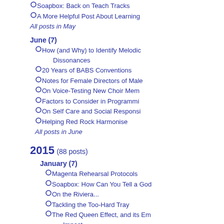Soapbox: Back on Teach Tracks
A More Helpful Post About Learning
All posts in May
June (7)
How (and Why) to Identify Melodic Dissonances
20 Years of BABS Conventions
Notes for Female Directors of Male
On Voice-Testing New Choir Members
Factors to Consider in Programming
On Self Care and Social Responsibility
Helping Red Rock Harmonise
All posts in June
2015 (88 posts)
January (7)
Magenta Rehearsal Protocols
Soapbox: How Can You Tell a Good
On the Riviera...
Tackling the Too-Hard Tray
The Red Queen Effect, and its Emotional Impact
Amersham A Cappella and Expression
Rediscovering Charisma: The Case of the Green Surge
All posts in January
February (7)